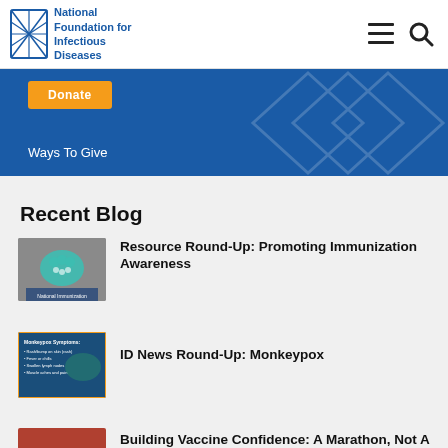[Figure (logo): National Foundation for Infectious Diseases logo with navigation menu and search icons]
[Figure (infographic): Blue donation banner with orange Donate button and Ways To Give text]
Recent Blog
[Figure (photo): National Immunization Awareness Month thumbnail with teal bandage heart]
Resource Round-Up: Promoting Immunization Awareness
[Figure (infographic): Monkeypox Symptoms informational graphic thumbnail]
ID News Round-Up: Monkeypox
[Figure (photo): Marathon runners photo thumbnail]
Building Vaccine Confidence: A Marathon, Not A Sprint